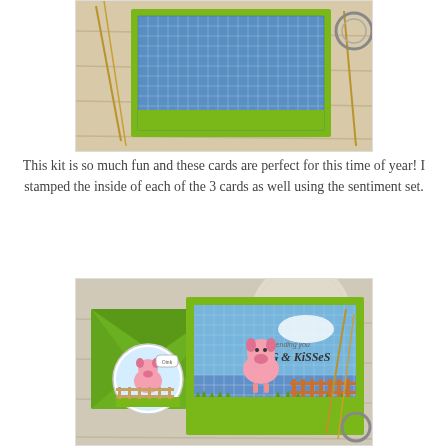[Figure (photo): Top photo showing a greeting card with blue gingham pattern border and green edges, surrounded by wheat stalks on a wooden surface.]
This kit is so much fun and these cards are perfect for this time of year! I stamped the inside of each of the 3 cards as well using the sentiment set.
[Figure (photo): Bottom photo showing a pig-themed greeting card with 'HOG & KISSES' sentiment, blue gingham border, green grass die cuts, a green envelope, and wheat stalks on a wooden surface.]